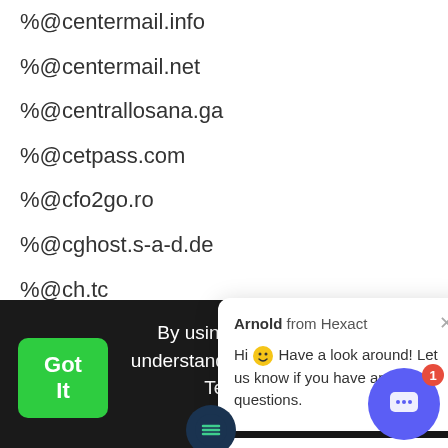%@centermail.info
%@centermail.net
%@centrallosana.ga
%@cetpass.com
%@cfo2go.ro
%@cghost.s-a-d.de
%@ch.tc
%@chacuo.net
%@chammy.info
%@changingemail.com
%@chaparmail.t
[Figure (screenshot): Chat popup from Arnold from Hexact saying: Hi 😀 Have a look around! Let us know if you have any questions. With a reply input box below.]
By using you have read and understand our Privacy Policy and Terms of Service
More